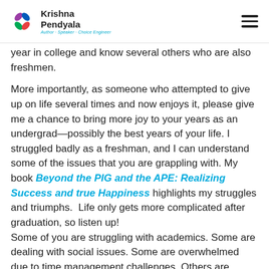Krishna Pendyala — Author · Speaker · Choice Engineer
year in college and know several others who are also freshmen.
More importantly, as someone who attempted to give up on life several times and now enjoys it, please give me a chance to bring more joy to your years as an undergrad—possibly the best years of your life. I struggled badly as a freshman, and I can understand some of the issues that you are grappling with. My book Beyond the PIG and the APE: Realizing Success and true Happiness highlights my struggles and triumphs.  Life only gets more complicated after graduation, so listen up!
Some of you are struggling with academics. Some are dealing with social issues. Some are overwhelmed due to time management challenges. Others are dealing with being away